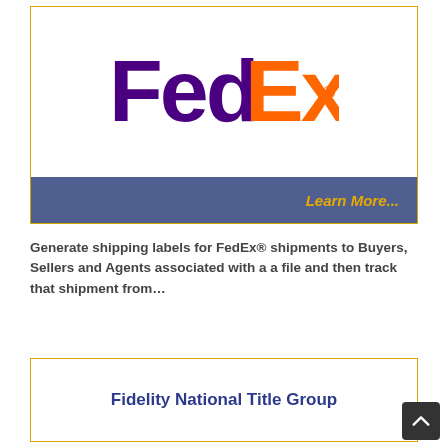[Figure (logo): FedEx logo with purple 'Fed' and orange 'Ex' lettering with registered trademark symbol]
Learn More...
Generate shipping labels for FedEx® shipments to Buyers, Sellers and Agents associated with a a file and then track that shipment from…
Fidelity National Title Group